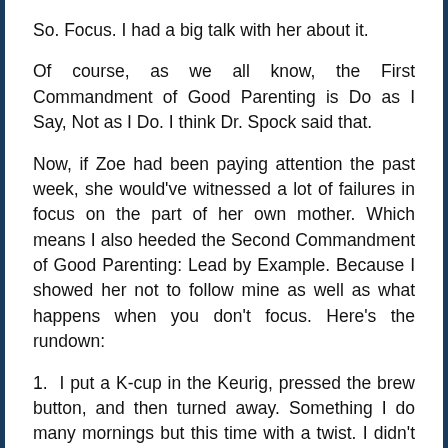So. Focus. I had a big talk with her about it.
Of course, as we all know, the First Commandment of Good Parenting is Do as I Say, Not as I Do. I think Dr. Spock said that.
Now, if Zoe had been paying attention the past week, she would've witnessed a lot of failures in focus on the part of her own mother. Which means I also heeded the Second Commandment of Good Parenting: Lead by Example. Because I showed her not to follow mine as well as what happens when you don't focus. Here's the rundown:
1.  I put a K-cup in the Keurig, pressed the brew button, and then turned away. Something I do many mornings but this time with a twist. I didn't place a mug under it.